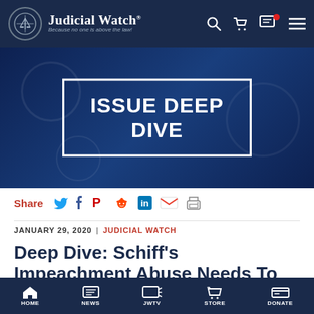Judicial Watch — Because no one is above the law!
[Figure (illustration): Hero banner with white-bordered box containing text ISSUE DEEP DIVE on dark navy blue background]
Share
JANUARY 29, 2020 | JUDICIAL WATCH
Deep Dive: Schiff's Impeachment Abuse Needs To Be Shut Down
HOME | NEWS | JWTV | STORE | DONATE